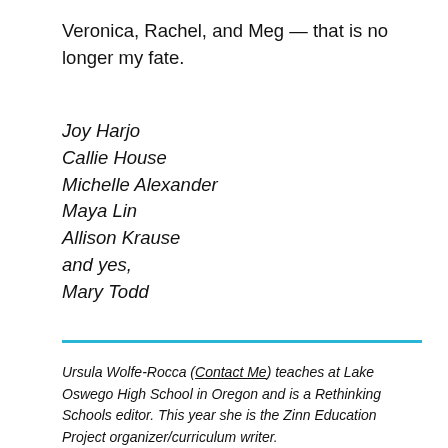Veronica, Rachel, and Meg — that is no longer my fate.
Joy Harjo
Callie House
Michelle Alexander
Maya Lin
Allison Krause
and yes,
Mary Todd
Ursula Wolfe-Rocca (Contact Me) teaches at Lake Oswego High School in Oregon and is a Rethinking Schools editor. This year she is the Zinn Education Project organizer/curriculum writer.